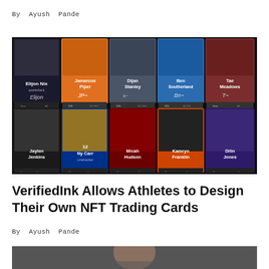By  Ayush  Pande
[Figure (screenshot): Screenshot of VerifiedInk NFT trading card platform showing 10 athlete cards in two rows. Top row: Elijon Nix (black), Jamarcus Piper (orange), Dijan Stanley (grey), Ben Southerland (blue), Tae Meadows (dark red). Bottom row: Jaylen Jenkins, Ny Carr (blue/yellow #12), Micah Hudson (white #4), Kamryn Franklin (orange/black), Dilin Jones (purple). Each card shows player photo, name, signature, and stats.]
VerifiedInk Allows Athletes to Design Their Own NFT Trading Cards
By  Ayush  Pande
[Figure (photo): Close-up photo of an athlete's face against a dark blurred background.]